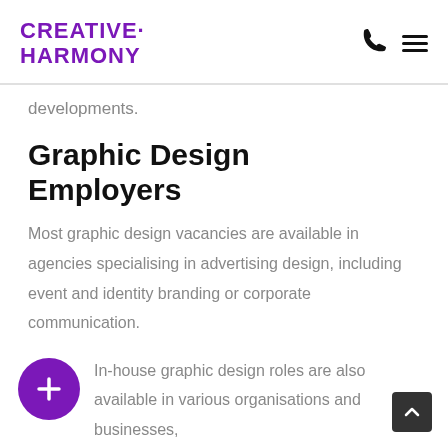CREATIVE HARMONY
developments.
Graphic Design Employers
Most graphic design vacancies are available in agencies specialising in advertising design, including event and identity branding or corporate communication.
In-house graphic design roles are also available in various organisations and businesses,